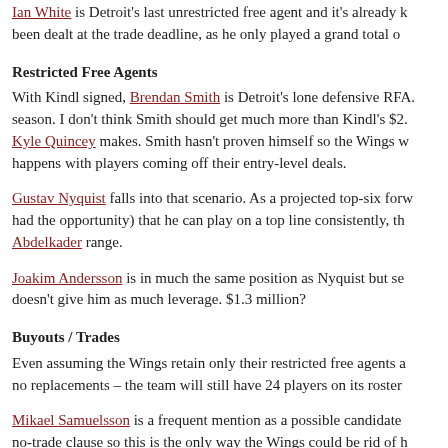Ian White is Detroit's last unrestricted free agent and it's already k been dealt at the trade deadline, as he only played a grand total o
Restricted Free Agents
With Kindl signed, Brendan Smith is Detroit's lone defensive RFA. season. I don't think Smith should get much more than Kindl's $2. Kyle Quincey makes. Smith hasn't proven himself so the Wings w happens with players coming off their entry-level deals.
Gustav Nyquist falls into that scenario. As a projected top-six forw had the opportunity) that he can play on a top line consistently, th Abdelkader range.
Joakim Andersson is in much the same position as Nyquist but se doesn't give him as much leverage. $1.3 million?
Buyouts / Trades
Even assuming the Wings retain only their restricted free agents a no replacements – the team will still have 24 players on its roster
Mikael Samuelsson is a frequent mention as a possible candidate no-trade clause so this is the only way the Wings could be rid of h